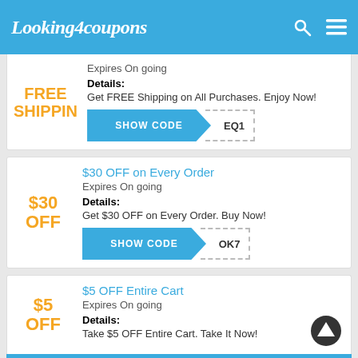Looking4coupons
FREE SHIPPING — Expires On going — Details: Get FREE Shipping on All Purchases. Enjoy Now! — SHOW CODE EQ1
$30 OFF on Every Order
Expires On going
Details: Get $30 OFF on Every Order. Buy Now!
SHOW CODE OK7
$5 OFF Entire Cart
Expires On going
Details: Take $5 OFF Entire Cart. Take It Now!